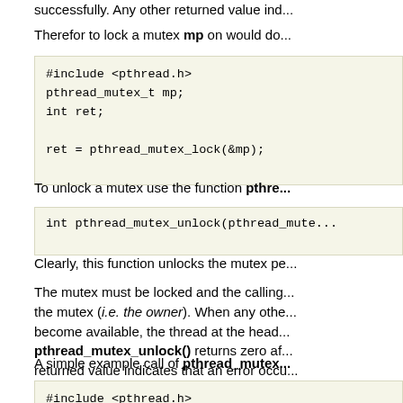successfully. Any other returned value ind...
Therefor to lock a mutex mp on would do...
#include <pthread.h>
pthread_mutex_t mp;
int ret;

ret = pthread_mutex_lock(&mp);
To unlock a mutex use the function pthre...
int pthread_mutex_unlock(pthread_mute...
Clearly, this function unlocks the mutex pe...
The mutex must be locked and the calling... the mutex (i.e. the owner). When any othe... become available, the thread at the head... pthread_mutex_unlock() returns zero af... returned value indicates that an error occu...
A simple example call of pthread_mutex...
#include <pthread.h>

pthread_mutex_t mp;
int ret;

/* release the mutex */
ret = pthread_mutex_unlock(&mp);